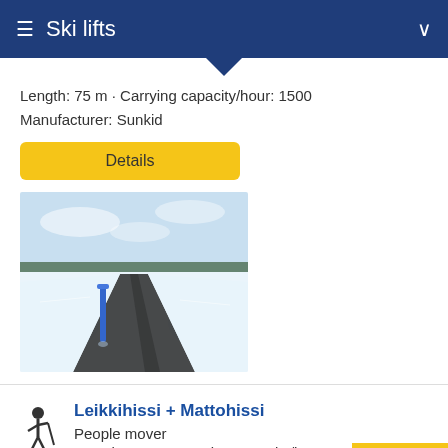Ski lifts
Length: 75 m · Carrying capacity/hour: 1500
Manufacturer: Sunkid
Details
[Figure (photo): A ski slope magic carpet/people mover track in snowy conditions with a blue pole and black belt running down the center of the snow channel.]
Leikkihissi + Mattohissi
People mover
Length: 25 m · Carrying capacity/hour: 1500
Details